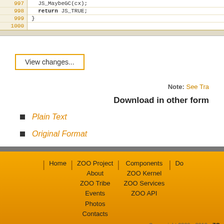[Figure (screenshot): Code snippet showing lines 997-1000 with JS_MaybeGC(cx), return JS_TRUE, closing brace, and empty line]
View changes...
Note: See Tra
Download in other form
Plain Text
Original Format
Home | ZOO Project About ZOO Tribe Events Photos Contacts | Components ZOO Kernel ZOO Services ZOO API | Do | © copyright 2009 - 2010 - ZO